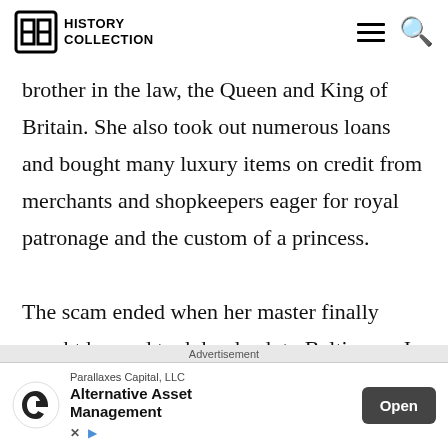History Collection
brother in the law, the Queen and King of Britain. She also took out numerous loans and bought many luxury items on credit from merchants and shopkeepers eager for royal patronage and the custom of a princess.

The scam ended when her master finally caught her and took her back to Baltimore. In 1775, she
Advertisement
Parallaxes Capital, LLC Alternative Asset Management Open